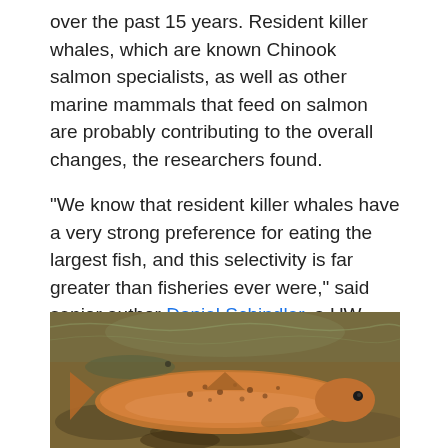over the past 15 years. Resident killer whales, which are known Chinook salmon specialists, as well as other marine mammals that feed on salmon are probably contributing to the overall changes, the researchers found.
“We know that resident killer whales have a very strong preference for eating the largest fish, and this selectivity is far greater than fisheries ever were,” said senior author Daniel Schindler, a UW professor of aquatic and fishery sciences.
[Figure (photo): Underwater photograph of Chinook salmon swimming in shallow water over a rocky riverbed]